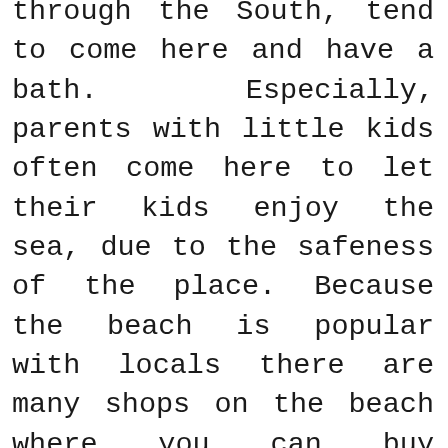through the South, tend to come here and have a bath. Especially, parents with little kids often come here to let their kids enjoy the sea, due to the safeness of the place. Because the beach is popular with locals there are many shops on the beach where you can buy goggles, water toys, towels and little snacks.
The Polhena beach area also comprises of many beautiful restaurants and hotels that are located in the commercial zone. Also, tourists can visit the place for